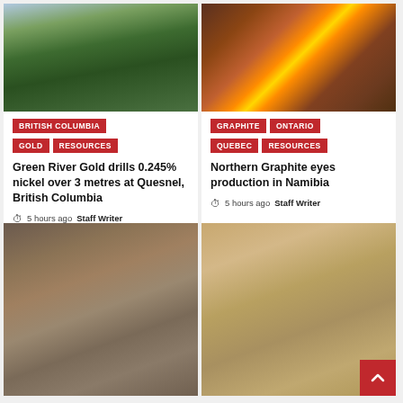[Figure (photo): Aerial view of forested green hillsides and mountains in British Columbia]
BRITISH COLUMBIA | GOLD | RESOURCES
Green River Gold drills 0.245% nickel over 3 metres at Quesnel, British Columbia
5 hours ago  Staff Writer
[Figure (photo): Close-up of molten metal being poured with flame, industrial metal casting]
GRAPHITE | ONTARIO | QUEBEC | RESOURCES
Northern Graphite eyes production in Namibia
5 hours ago  Staff Writer
[Figure (photo): Close-up of rocky ground with minerals]
[Figure (photo): Desert landscape with mining equipment in background]